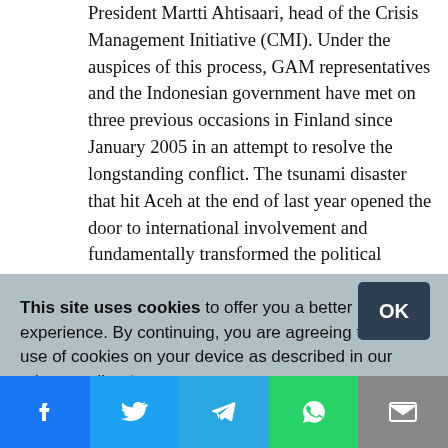President Martti Ahtisaari, head of the Crisis Management Initiative (CMI). Under the auspices of this process, GAM representatives and the Indonesian government have met on three previous occasions in Finland since January 2005 in an attempt to resolve the longstanding conflict. The tsunami disaster that hit Aceh at the end of last year opened the door to international involvement and fundamentally transformed the political landscape.
Even though both parties expressed optimism that a peaceful resolution could be reached following the fourth round of talks, one should bear in mind the enormous and
This site uses cookies to offer you a better browsing experience. By continuing, you are agreeing to the use of cookies on your device as described in our privacy policy. Learn more
[Figure (infographic): Social sharing bar with Facebook, Twitter, Telegram, WhatsApp, and Email icons]